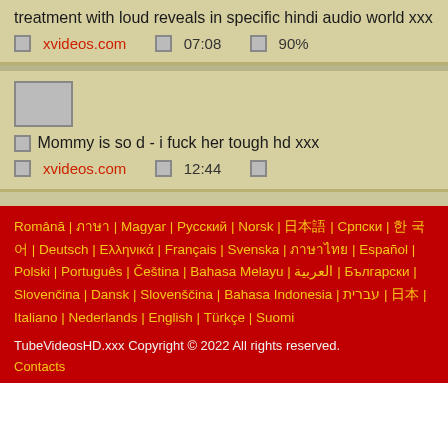treatment with loud reveals in specific hindi audio world xxx
xvideos.com  07:08  90%
Mommy is so d - i fuck her tough hd xxx
xvideos.com  12:44
Română | ... | Magyar | Русский | Norsk | ... | Српски | 한국어 | Deutsch | Ελληνικά | Français | Svenska | ภาษาไทย | Español | Polski | Português | Čeština | Bahasa Melayu | العربية | Български | Slovenčina | Dansk | Slovenščina | Bahasa Indonesia | עברית | 日本語 | Italiano | Nederlands | English | Türkçe | Suomi
TubeVideosHD.xxx Copyright © 2022 All rights reserved.
Contacts